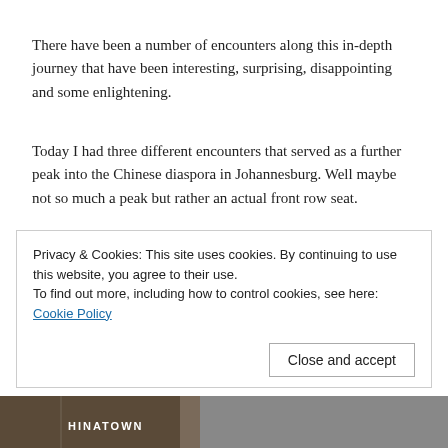There have been a number of encounters along this in-depth journey that have been interesting, surprising, disappointing and some enlightening.
Today I had three different encounters that served as a further peak into the Chinese diaspora in Johannesburg. Well maybe not so much a peak but rather an actual front row seat.
The first was in the morning at the first meeting of the day. Shandu and I headed out to Randburg to meet the
Privacy & Cookies: This site uses cookies. By continuing to use this website, you agree to their use.
To find out more, including how to control cookies, see here: Cookie Policy
[Figure (photo): Partial photo strip at bottom showing Chinatown signage]